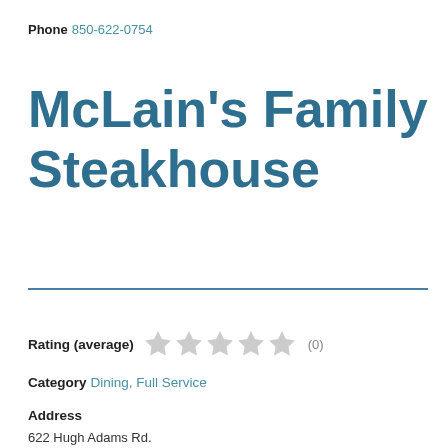Phone  850-622-0754
McLain's Family Steakhouse
Rating (average)  ☆☆☆☆☆  (0)
Category  Dining, Full Service
Address
622 Hugh Adams Rd.